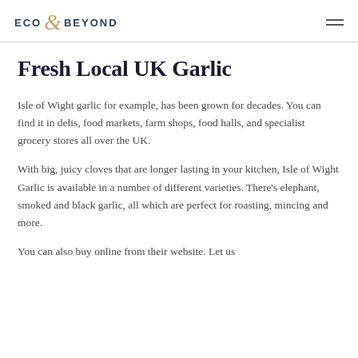ECO & BEYOND
Fresh Local UK Garlic
Isle of Wight garlic for example, has been grown for decades. You can find it in delis, food markets, farm shops, food halls, and specialist grocery stores all over the UK.
With big, juicy cloves that are longer lasting in your kitchen, Isle of Wight Garlic is available in a number of different varieties. There’s elephant, smoked and black garlic, all which are perfect for roasting, mincing and more.
You can also buy online from their website. Let us